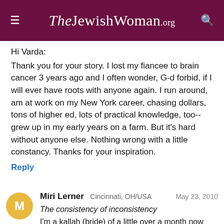TheJewishWoman.org
Hi Varda:
Thank you for your story. I lost my fiancee to brain cancer 3 years ago and I often wonder, G-d forbid, if I will ever have roots with anyone again. I run around, am at work on my New York career, chasing dollars, tons of higher ed, lots of practical knowledge, too--grew up in my early years on a farm. But it's hard without anyone else. Nothing wrong with a little constancy. Thanks for your inspiration.
Reply
Miri Lerner  Cincinnati, OH/USA  May 23, 2010
The consistency of inconsistency
I'm a kallah (bride) of a little over a month now and consistency has been a foreign concept to